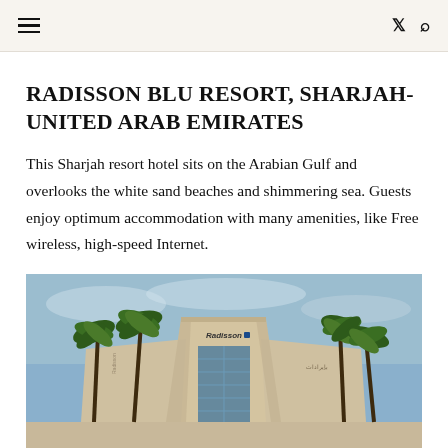☰  𝕏 🔍
RADISSON BLU RESORT, SHARJAH-UNITED ARAB EMIRATES
This Sharjah resort hotel sits on the Arabian Gulf and overlooks the white sand beaches and shimmering sea. Guests enjoy optimum accommodation with many amenities, like Free wireless, high-speed Internet.
[Figure (photo): Exterior photo of the Radisson Blu Resort Sharjah showing the distinctive angular beige building facade with Radisson logo, palm trees in foreground, and blue sky background.]